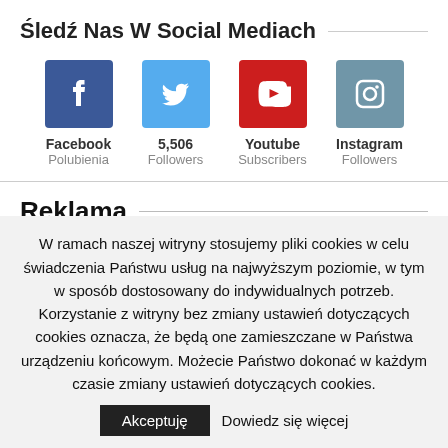Śledź Nas W Social Mediach
[Figure (infographic): Four social media icons with labels: Facebook (Polubienia), Twitter (5,506 Followers), Youtube (Subscribers), Instagram (Followers)]
Reklama
W ramach naszej witryny stosujemy pliki cookies w celu świadczenia Państwu usług na najwyższym poziomie, w tym w sposób dostosowany do indywidualnych potrzeb. Korzystanie z witryny bez zmiany ustawień dotyczących cookies oznacza, że będą one zamieszczane w Państwa urządzeniu końcowym. Możecie Państwo dokonać w każdym czasie zmiany ustawień dotyczących cookies.
Akceptuję   Dowiedz się więcej